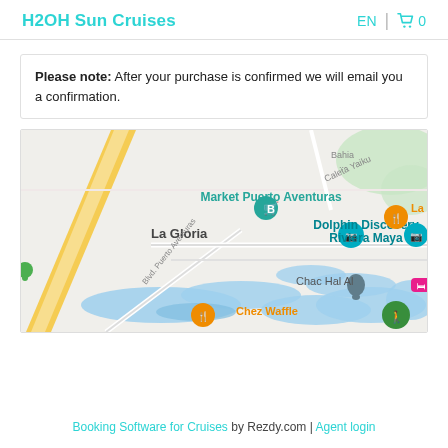H2OH Sun Cruises  EN  🛒 0
Please note: After your purchase is confirmed we will email you a confirmation.
[Figure (map): Google Maps screenshot showing Puerto Aventuras area in Mexico. Visible landmarks include: Market Puerto Aventuras, Dolphin Discovery Riviera Maya, La Gloria, Chac Hal Al, Chez Waffle, La Ca (cut off), Caleta Yaiku, Blvd. Puerto Aventuras, Bahia (cut off). Various map pins in teal, orange, green, pink, and gray.]
Booking Software for Cruises by Rezdy.com | Agent login